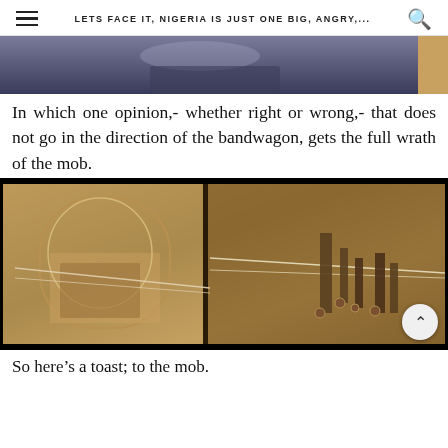LETS FACE IT, NIGERIA IS JUST ONE BIG, ANGRY,...
[Figure (photo): Partial photo of a person wearing a dark blue outfit, upper body visible against a light background with a gold/tan element at the right edge]
In which one opinion,- whether right or wrong,- that does not go in the direction of the bandwagon, gets the full wrath of the mob.
[Figure (photo): Dark-bordered video frame showing what appears to be architectural details with arched windows and mechanical/stringed elements, sepia/gold toned]
So here’s a toast; to the mob.